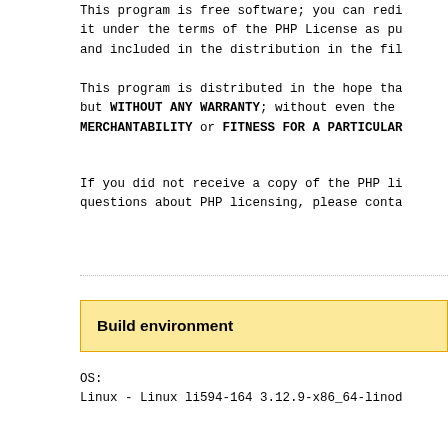This program is free software; you can redistribute it under the terms of the PHP License as pu and included in the distribution in the fil
This program is distributed in the hope tha but WITHOUT ANY WARRANTY; without even the MERCHANTABILITY or FITNESS FOR A PARTICULAR
If you did not receive a copy of the PHP li questions about PHP licensing, please conta
Build environment
OS:
Linux - Linux li594-164 3.12.9-x86_64-linod